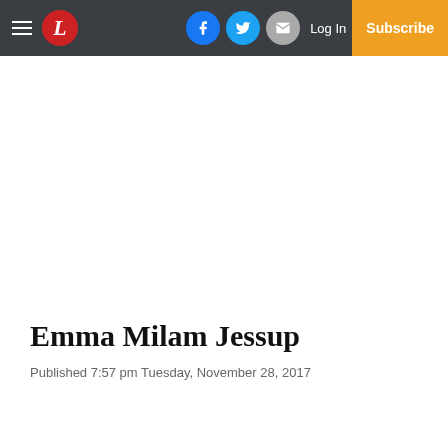Emma Milam Jessup — newspaper website header with logo, social icons, Log In, and Subscribe
Emma Milam Jessup
Published 7:57 pm Tuesday, November 28, 2017